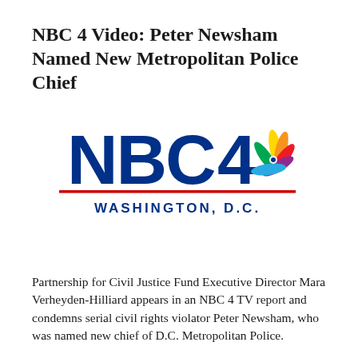NBC 4 Video: Peter Newsham Named New Metropolitan Police Chief
[Figure (logo): NBC 4 Washington D.C. logo with peacock feather icon in rainbow colors, large bold blue NBC 4 text, red horizontal rule, and WASHINGTON, D.C. in blue capital letters below]
Partnership for Civil Justice Fund Executive Director Mara Verheyden-Hilliard appears in an NBC 4 TV report and condemns serial civil rights violator Peter Newsham, who was named new chief of D.C. Metropolitan Police.